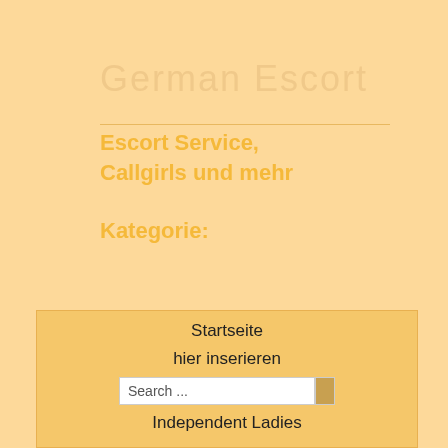German Escort
Escort Service, Callgirls und mehr
Kategorie:
Startseite
hier inserieren
Search ...
Independent Ladies